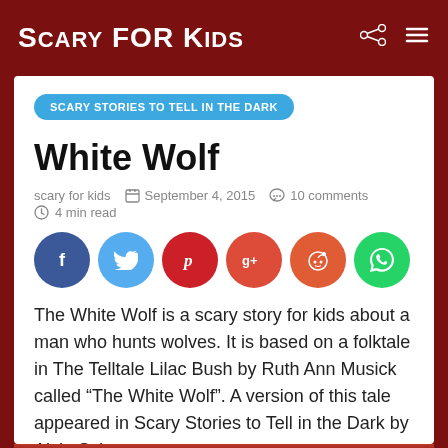Scary For Kids
SCARY STORIES TO TELL IN THE DARK
White Wolf
scary for kids  September 4, 2015  10 comments  4 min read
[Figure (other): Social sharing buttons: Facebook, Twitter, Pinterest, Google+, Reddit, WhatsApp]
The White Wolf is a scary story for kids about a man who hunts wolves. It is based on a folktale in The Telltale Lilac Bush by Ruth Ann Musick called “The White Wolf”. A version of this tale appeared in Scary Stories to Tell in the Dark by Alvin Schwartz.
[Figure (photo): Partial image visible at bottom of page]